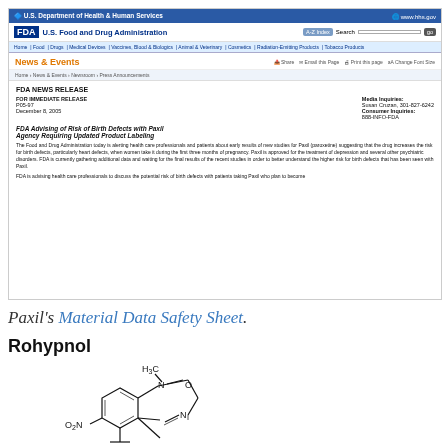[Figure (screenshot): Screenshot of FDA website showing a news release about Paxil birth defects risk, dated December 8, 2005, with HHS header, FDA logo, navigation bars, and article text.]
Paxil's Material Data Safety Sheet.
Rohypnol
[Figure (engineering-diagram): Chemical structure diagram of Rohypnol (flunitrazepam) showing H3C, N, O groups with a nitro group (O2N) and benzene ring structure, partially visible.]